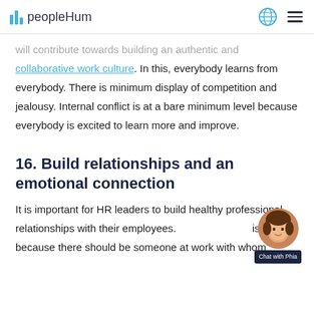peopleHum
will contribute towards building an authentic and collaborative work culture. In this, everybody learns from everybody. There is minimum display of competition and jealousy. Internal conflict is at a bare minimum level because everybody is excited to learn more and improve.
16. Build relationships and an emotional connection
It is important for HR leaders to build healthy professional relationships with their employees. is because there should be someone at work with whom